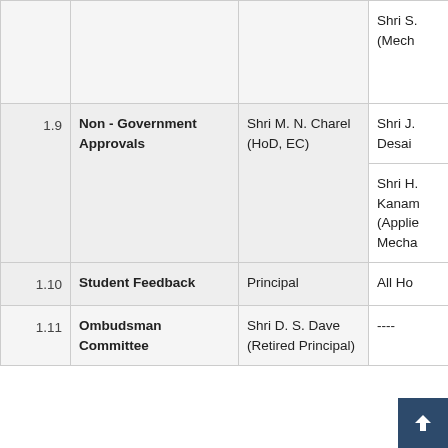|  |  |  |  |
| --- | --- | --- | --- |
|  |  |  | Shri S. (Mech |
| 1.9 | Non - Government Approvals | Shri M. N. Charel (HoD, EC) | Shri J. Desai
Shri H. Kanam (Applie Mecha |
| 1.10 | Student Feedback | Principal | All Ho |
| 1.11 | Ombudsman Committee | Shri D. S. Dave (Retired Principal) | ---- |